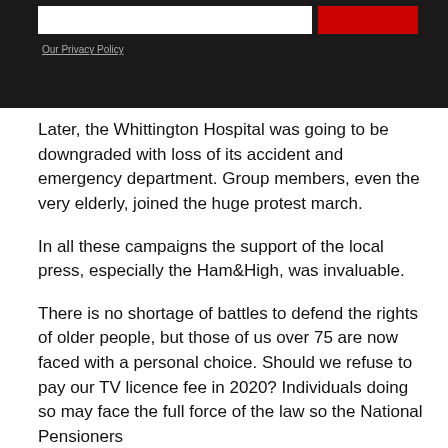[Figure (screenshot): Dark navigation bar with a white input field and a red button, plus an 'Our Privacy Policy' link below.]
Later, the Whittington Hospital was going to be downgraded with loss of its accident and emergency department. Group members, even the very elderly, joined the huge protest march.
In all these campaigns the support of the local press, especially the Ham&High, was invaluable.
There is no shortage of battles to defend the rights of older people, but those of us over 75 are now faced with a personal choice. Should we refuse to pay our TV licence fee in 2020? Individuals doing so may face the full force of the law so the National Pensioners